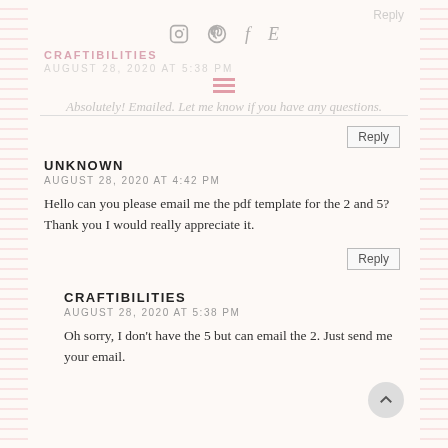Reply
[Figure (infographic): Social media icons: Instagram, Pinterest, Facebook, Etsy]
CRAFTIBILITIES
AUGUST 28, 2020 AT 5:38 PM
[Figure (other): Hamburger menu icon (three horizontal red lines)]
Absolutely! Emailed. Let me know if you have any questions.
Reply
UNKNOWN
AUGUST 28, 2020 AT 4:42 PM
Hello can you please email me the pdf template for the 2 and 5? Thank you I would really appreciate it.
Reply
CRAFTIBILITIES
AUGUST 28, 2020 AT 5:38 PM
Oh sorry, I don't have the 5 but can email the 2. Just send me your email.